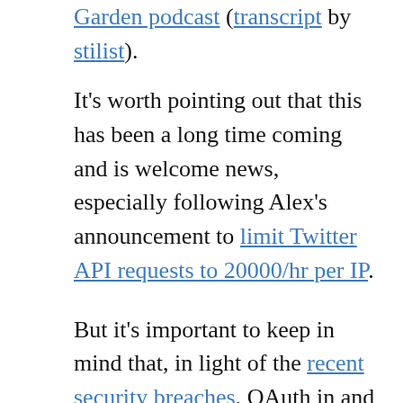Garden podcast (transcript by stilist).
It's worth pointing out that this has been a long time coming and is welcome news, especially following Alex's announcement to limit Twitter API requests to 20000/hr per IP.
But it's important to keep in mind that, in light of the recent security breaches, OAuth in and of itself does not, and will not, prevent phishing.
It does, however, provide a way for Twitter to better track the use of its API, and to enable higher quality of service for trusted (paying?) applications and to surface them through a Facebook-like application directory. It also means that Twitter users will have finer grained